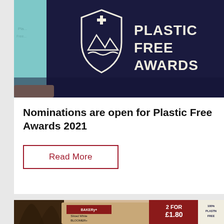[Figure (photo): Photo of a Plastic Free Awards banner/sign with the shield logo and text 'PLASTIC FREE AWARDS' on a dark navy background with teal/cyan accents. A hand is partially visible at the bottom left.]
Nominations are open for Plastic Free Awards 2021
Read More
[Figure (photo): Photo showing bread packaging including a 'Sliced White Bloomer' bag with '2 FOR £1.80' promotional label and '100% PLASTIC FREE' text on the packaging.]